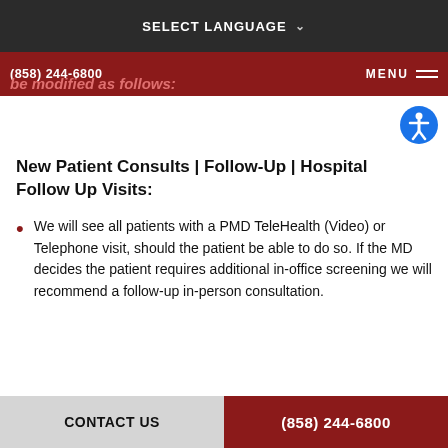SELECT LANGUAGE
(858) 244-6800   be modified as follows:   MENU
New Patient Consults | Follow-Up | Hospital Follow Up Visits:
We will see all patients with a PMD TeleHealth (Video) or Telephone visit, should the patient be able to do so. If the MD decides the patient requires additional in-office screening we will recommend a follow-up in-person consultation.
CONTACT US   (858) 244-6800